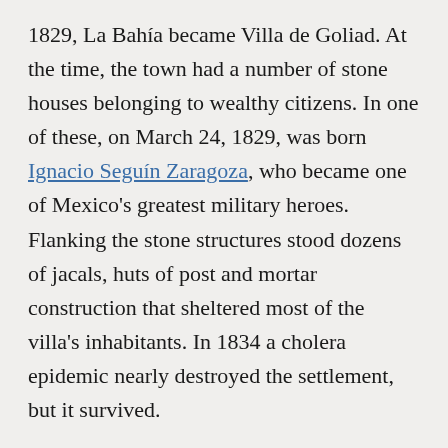1829, La Bahía became Villa de Goliad. At the time, the town had a number of stone houses belonging to wealthy citizens. In one of these, on March 24, 1829, was born Ignacio Seguín Zaragoza, who became one of Mexico's greatest military heroes. Flanking the stone structures stood dozens of jacals, huts of post and mortar construction that sheltered most of the villa's inhabitants. In 1834 a cholera epidemic nearly destroyed the settlement, but it survived.
The fourth and most noted effort originating in Goliad to establish Texas independence, known as the Goliad Campaign of 1835, began in October after an armed confrontation called the battle of Gonzales. Texans under Benjamin R. Milam and George Collinsworth